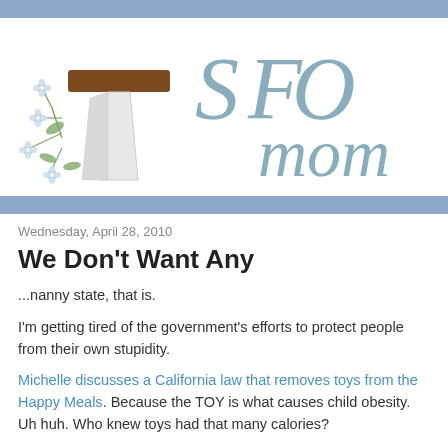[Figure (logo): SFO Mom blog logo with Franciscan cross decorated with flowers on the left, and stylized 'SFO mom' text in teal/steel blue on the right]
Wednesday, April 28, 2010
We Don't Want Any
...nanny state, that is.
I'm getting tired of the government's efforts to protect people from their own stupidity.
Michelle discusses a California law that removes toys from the Happy Meals. Because the TOY is what causes child obesity. Uh huh. Who knew toys had that many calories?